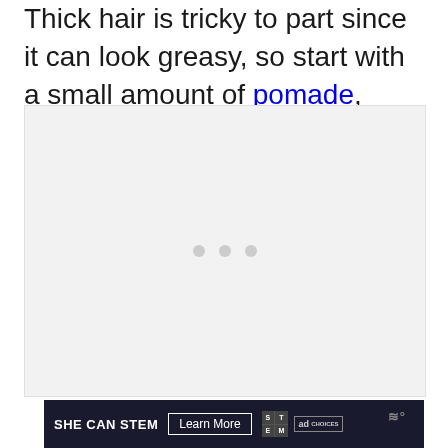Thick hair is tricky to part since it can look greasy, so start with a small amount of pomade, wax, or clay.
[Figure (other): A light gray placeholder image area with three gray dots centered, indicating a loading or carousel image placeholder.]
[Figure (screenshot): An advertisement banner with dark navy background reading 'SHE CAN STEM' with 'Learn More' button, STEM logo, ad choices logo, and Moat verification logo.]